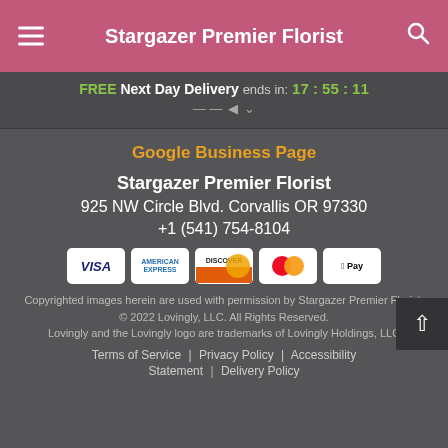Stargazer Premier Florist
FREE Next Day Delivery ends in: 17:55:11
Google Business Page
Stargazer Premier Florist
925 NW Circle Blvd. Corvallis OR 97330
+1 (541) 754-8104
[Figure (other): Payment method badges: Visa, American Express, Discover, Mastercard, Apple Pay]
Copyrighted images herein are used with permission by Stargazer Premier Florist.
© 2022 Lovingly, LLC. All Rights Reserved.
Lovingly and the Lovingly logo are trademarks of Lovingly Holdings, LLC
Terms of Service | Privacy Policy | Accessibility Statement | Delivery Policy